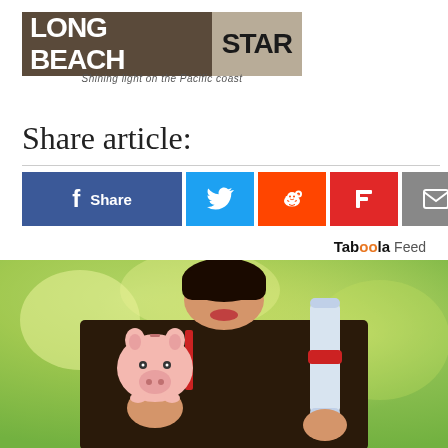[Figure (logo): Long Beach Star newspaper logo with tagline 'Shining light on the Pacific coast']
Share article:
[Figure (infographic): Social sharing buttons: Facebook Share, Twitter, Reddit, Flipboard, Email]
Taboola Feed
[Figure (photo): A graduate in black gown holding a pink piggy bank in one hand and a diploma scroll with red ribbon in the other hand, with blurred green background]